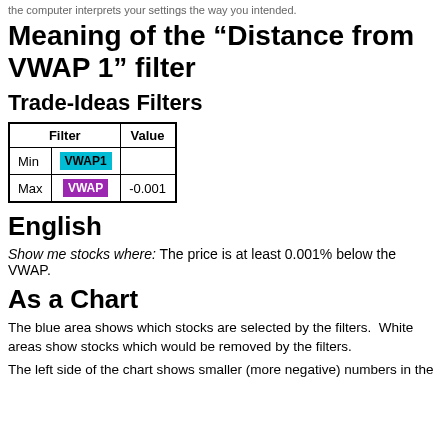the computer interprets your settings the way you intended.
Meaning of the “Distance from VWAP 1” filter
Trade-Ideas Filters
| Filter | Value |
| --- | --- |
| Min | VWAP1 |  |
| Max | VWAP | -0.001 |
English
Show me stocks where: The price is at least 0.001% below the VWAP.
As a Chart
The blue area shows which stocks are selected by the filters.  White areas show stocks which would be removed by the filters.
The left side of the chart shows smaller (more negative) numbers in the